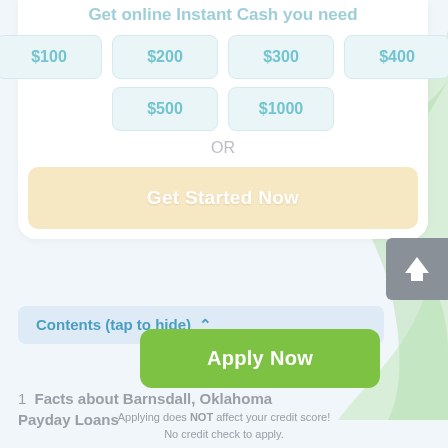Get online Instant Cash you need
$100
$200
$300
$400
$500
$1000
OR
Get Started Now
Contents (tap to hide) ^
Apply Now
1  Facts about Barnsdall, Oklahoma Payday Loans
Applying does NOT affect your credit score!
No credit check to apply.